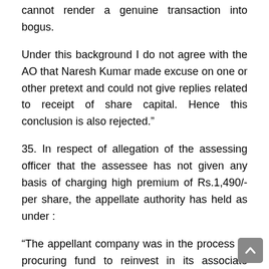cannot render a genuine transaction into bogus.
Under this background I do not agree with the AO that Naresh Kumar made excuse on one or other pretext and could not give replies related to receipt of share capital. Hence this conclusion is also rejected.”
35. In respect of allegation of the assessing officer that the assessee has not given any basis of charging high premium of Rs.1,490/-per share, the appellate authority has held as under :
“The appellant company was in the process of procuring fund to reinvest in its associate concern namely chain House International (P) Ltd. who was planning to open gold chain retail stores on pan-India basis. The directors of the associate company namely Naresh Kumar and has sons where already in the business of gold chain and their another group